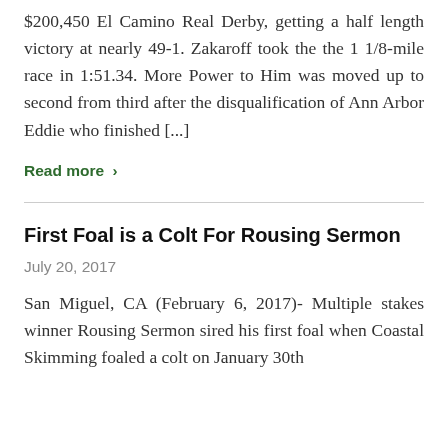$200,450 El Camino Real Derby, getting a half length victory at nearly 49-1. Zakaroff took the the 1 1/8-mile race in 1:51.34. More Power to Him was moved up to second from third after the disqualification of Ann Arbor Eddie who finished [...]
Read more ›
First Foal is a Colt For Rousing Sermon
July 20, 2017
San Miguel, CA (February 6, 2017)- Multiple stakes winner Rousing Sermon sired his first foal when Coastal Skimming foaled a colt on January 30th